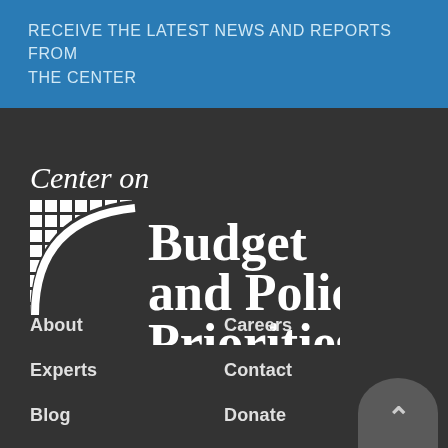RECEIVE THE LATEST NEWS AND REPORTS FROM THE CENTER
[Figure (logo): Center on Budget and Policy Priorities logo — white grid/arc icon with organization name in white serif and sans-serif text on dark background]
About
Careers
Experts
Contact
Blog
Donate